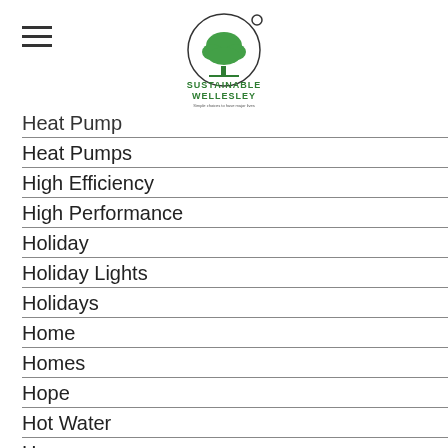[Figure (logo): Sustainable Wellesley logo with green tree and circular design, with tagline text below]
Heat Pump
Heat Pumps
High Efficiency
High Performance
Holiday
Holiday Lights
Holidays
Home
Homes
Hope
Hot Water
House
Hunnewell School
HVAC
Hybird